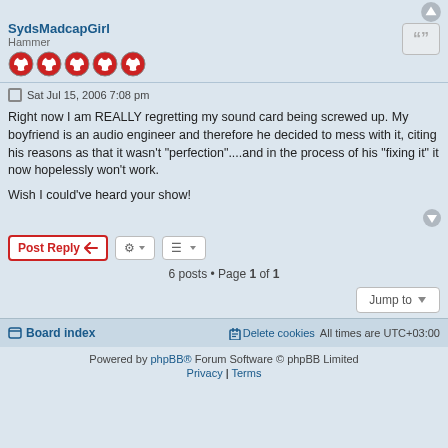SydsMadcapGirl
Hammer
Sat Jul 15, 2006 7:08 pm
Right now I am REALLY regretting my sound card being screwed up. My boyfriend is an audio engineer and therefore he decided to mess with it, citing his reasons as that it wasn't "perfection"....and in the process of his "fixing it" it now hopelessly won't work.

Wish I could've heard your show!
Post Reply
6 posts • Page 1 of 1
Jump to
Board index   Delete cookies   All times are UTC+03:00
Powered by phpBB® Forum Software © phpBB Limited
Privacy | Terms